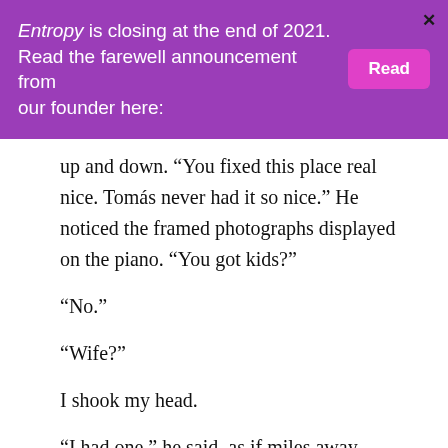Entropy is closing at the end of 2021. Read the farewell announcement from our founder here:
up and down. “You fixed this place real nice. Tomás never had it so nice.” He noticed the framed photographs displayed on the piano. “You got kids?”
“No.”
“Wife?”
I shook my head.
“I had one,” he said, as if miles away. “Ernesta. I think maybe it’s good she